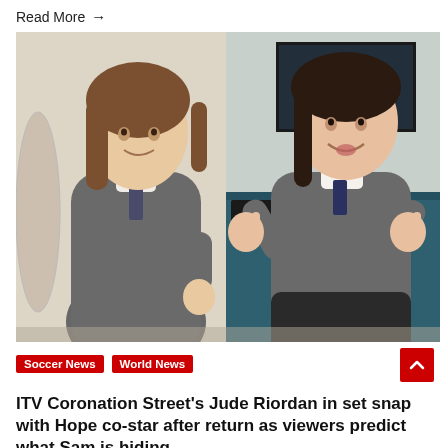Read More →
[Figure (photo): Two children in grey school uniforms standing indoors. The child on the left is giving a thumbs up, and the child on the right is making hand signs with both hands raised, smiling. Background shows a blue cabinet and a TV screen.]
Soccer News   World News
ITV Coronation Street's Jude Riordan in set snap with Hope co-star after return as viewers predict what Sam is hiding